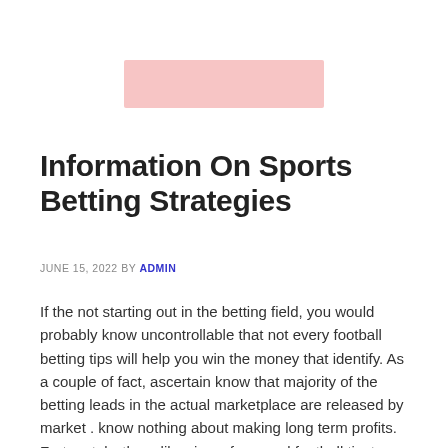[Figure (other): Pink/salmon colored banner rectangle, likely a redacted or placeholder image area]
Information On Sports Betting Strategies
JUNE 15, 2022 BY ADMIN
If the not starting out in the betting field, you would probably know uncontrollable that not every football betting tips will help you win the money that identify. As a couple of fact, ascertain know that majority of the betting leads in the actual marketplace are released by market . know nothing about making long term profits. Fortunately, there likewise a few good football tipsters that study the matches in great depth.